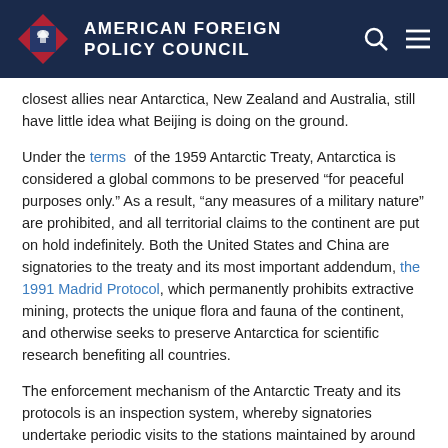AMERICAN FOREIGN POLICY COUNCIL
closest allies near Antarctica, New Zealand and Australia, still have little idea what Beijing is doing on the ground.
Under the terms of the 1959 Antarctic Treaty, Antarctica is considered a global commons to be preserved “for peaceful purposes only.” As a result, “any measures of a military nature” are prohibited, and all territorial claims to the continent are put on hold indefinitely. Both the United States and China are signatories to the treaty and its most important addendum, the 1991 Madrid Protocol, which permanently prohibits extractive mining, protects the unique flora and fauna of the continent, and otherwise seeks to preserve Antarctica for scientific research benefiting all countries.
The enforcement mechanism of the Antarctic Treaty and its protocols is an inspection system, whereby signatories undertake periodic visits to the stations maintained by around thirty countries. Not only are these visits notoriously infrequent, however, they are also incomplete, having failed to visit some of China’s five research stations on Antarctica to date.